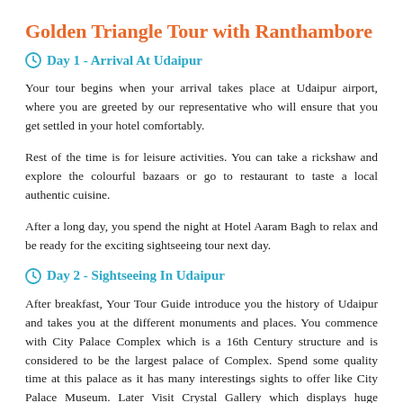Golden Triangle Tour with Ranthambore
Day 1 - Arrival At Udaipur
Your tour begins when your arrival takes place at Udaipur airport, where you are greeted by our representative who will ensure that you get settled in your hotel comfortably.
Rest of the time is for leisure activities. You can take a rickshaw and explore the colourful bazaars or go to restaurant to taste a local authentic cuisine.
After a long day, you spend the night at Hotel Aaram Bagh to relax and be ready for the exciting sightseeing tour next day.
Day 2 - Sightseeing In Udaipur
After breakfast, Your Tour Guide introduce you the history of Udaipur and takes you at the different monuments and places. You commence with City Palace Complex which is a 16th Century structure and is considered to be the largest palace of Complex. Spend some quality time at this palace as it has many interestings sights to offer like City Palace Museum. Later Visit Crystal Gallery which displays huge collection of crystal chairs,sofas,dinner sets and